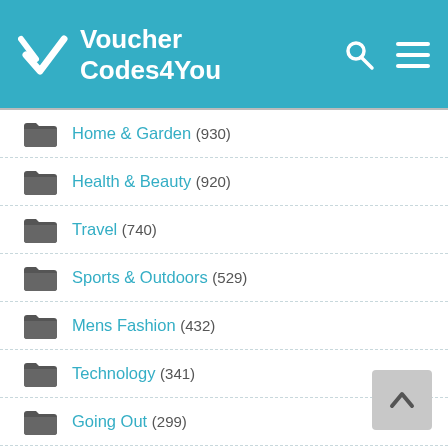VoucherCodes4You
Home & Garden (930)
Health & Beauty (920)
Travel (740)
Sports & Outdoors (529)
Mens Fashion (432)
Technology (341)
Going Out (299)
Food & Drink (295)
Womens Accessories (245)
Womens Shoes & Boots (239)